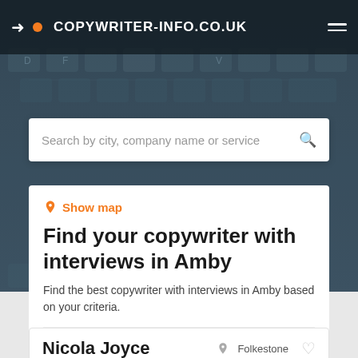COPYWRITER-INFO.CO.UK
Search by city, company name or service
Show map
Find your copywriter with interviews in Amby
Find the best copywriter with interviews in Amby based on your criteria.
Filters
Nicola Joyce  Folkestone